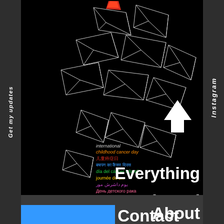[Figure (illustration): Black background with white wireframe geometric diamond/rhombus shapes arranged in a scattered pattern, with a red/orange accent shape at the top center. Multilingual text overlay at bottom left of image reading 'International childhood cancer day' in multiple languages.]
instagram
Get my updates
Selected
Everything
Contact
About